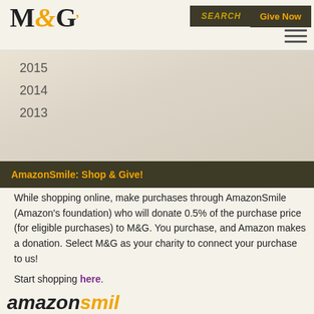M&G | SEARCH | Give Now
2015
2014
2013
AmazonSmile: Shop & Give!
While shopping online, make purchases through AmazonSmile (Amazon's foundation) who will donate 0.5% of the purchase price (for eligible purchases) to M&G. You purchase, and Amazon makes a donation. Select M&G as your charity to connect your purchase to us!
Start shopping here.
[Figure (logo): AmazonSmile logo at bottom of page]